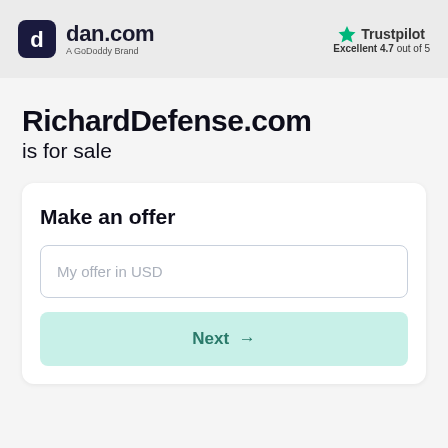dan.com — A GoDoddy Brand | Trustpilot Excellent 4.7 out of 5
RichardDefense.com is for sale
Make an offer
My offer in USD
Next →